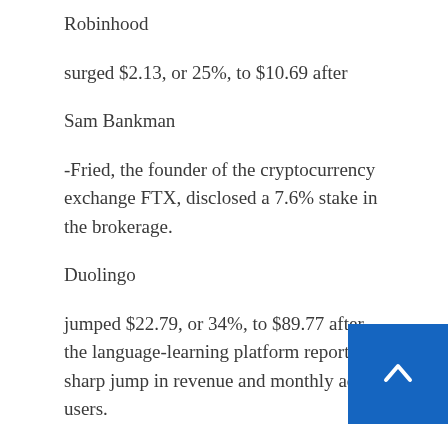Robinhood
surged $2.13, or 25%, to $10.69 after
Sam Bankman
-Fried, the founder of the cryptocurrency exchange FTX, disclosed a 7.6% stake in the brokerage.
Duolingo
jumped $22.79, or 34%, to $89.77 after the language-learning platform reported a sharp jump in revenue and monthly active users.
Energy stocks were some of the biggest gainers Friday, rising with the price of oil. Brent, the global crude oil benchmark, rose 3.8% to $111.55. Oil prices ticked lower this week, but remain up more than 40% since the start of the year.